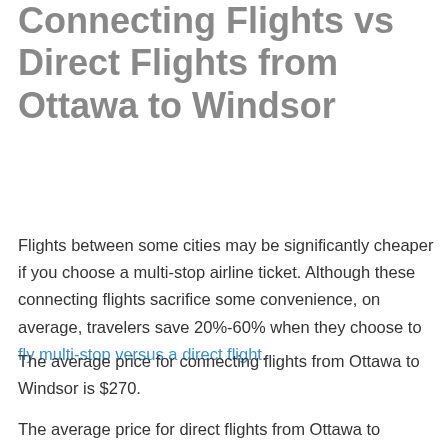Connecting Flights vs Direct Flights from Ottawa to Windsor
Flights between some cities may be significantly cheaper if you choose a multi-stop airline ticket. Although these connecting flights sacrifice some convenience, on average, travelers save 20%-60% when they choose to fly multi-stop versus a direct flight.
The average price for connecting flights from Ottawa to Windsor is $270.
The average price for direct flights from Ottawa to